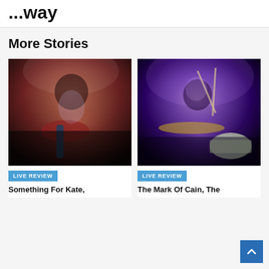...way
More Stories
[Figure (photo): Concert photo of a male guitarist playing a red electric guitar, wearing a grey shirt, leaning forward intensely on a dark stage]
LIVE REVIEW
Something For Kate,
[Figure (photo): Concert photo of a male drummer playing with drumsticks raised, lit by purple/blue stage lighting, with cymbals and drums visible]
LIVE REVIEW
The Mark Of Cain, The